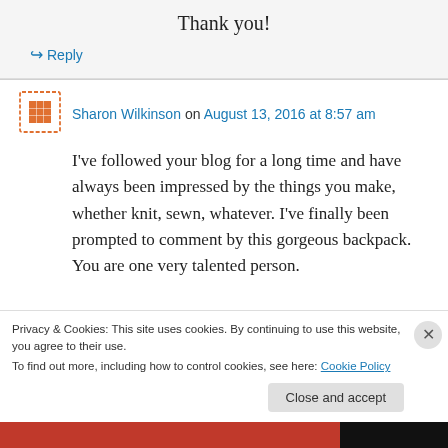Thank you!
↪ Reply
Sharon Wilkinson on August 13, 2016 at 8:57 am
I've followed your blog for a long time and have always been impressed by the things you make, whether knit, sewn, whatever. I've finally been prompted to comment by this gorgeous backpack. You are one very talented person.
Privacy & Cookies: This site uses cookies. By continuing to use this website, you agree to their use.
To find out more, including how to control cookies, see here: Cookie Policy
Close and accept